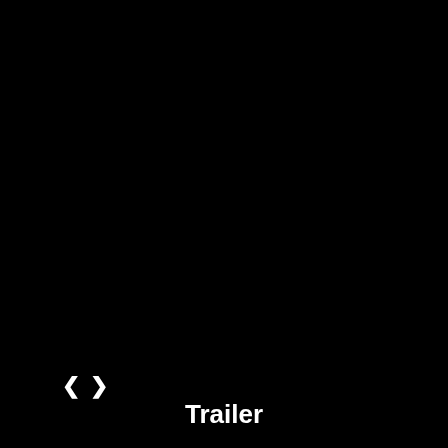[Figure (screenshot): Fully black background with navigation angle bracket icons (< >) in white at the lower-left area]
< >
Trailer